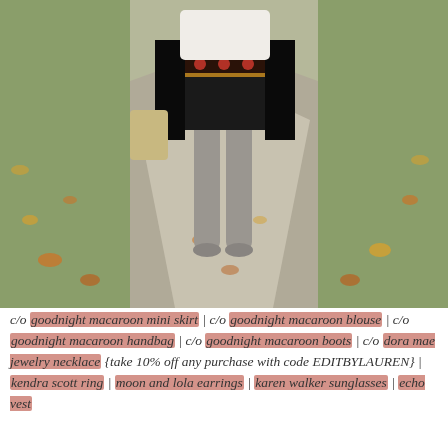[Figure (photo): A person walking on a sidewalk outdoors, wearing a floral embroidered mini skirt, over-the-knee grey suede boots, and a long black cardigan, holding a bag. Autumn leaves are scattered on the ground around the path.]
c/o goodnight macaroon mini skirt | c/o goodnight macaroon blouse | c/o goodnight macaroon handbag | c/o goodnight macaroon boots | c/o dora mae jewelry necklace {take 10% off any purchase with code EDITBYLAUREN} | kendra scott ring | moon and lola earrings | karen walker sunglasses | echo vest